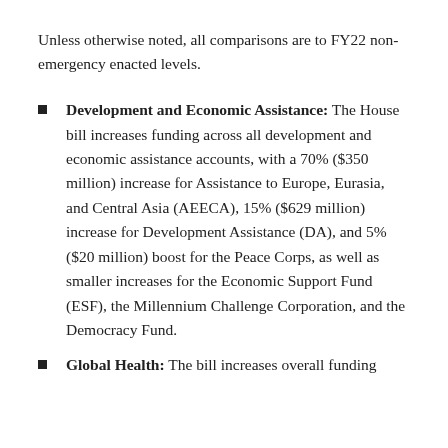Unless otherwise noted, all comparisons are to FY22 non-emergency enacted levels.
Development and Economic Assistance: The House bill increases funding across all development and economic assistance accounts, with a 70% ($350 million) increase for Assistance to Europe, Eurasia, and Central Asia (AEECA), 15% ($629 million) increase for Development Assistance (DA), and 5% ($20 million) boost for the Peace Corps, as well as smaller increases for the Economic Support Fund (ESF), the Millennium Challenge Corporation, and the Democracy Fund.
Global Health: The bill increases overall funding